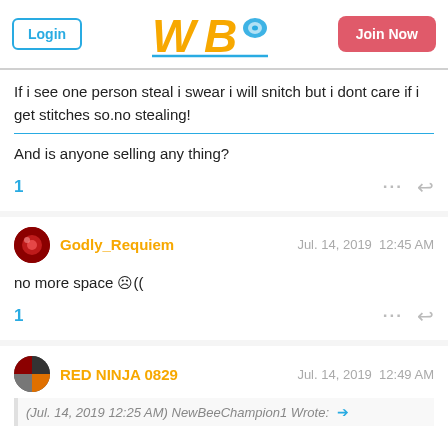WBO - Login | Join Now
If i see one person steal i swear i will snitch but i dont care if i get stitches so.no stealing!
And is anyone selling any thing?
1
Godly_Requiem   Jul. 14, 2019  12:45 AM
no more space ☹((
1
RED NINJA 0829   Jul. 14, 2019  12:49 AM
(Jul. 14, 2019 12:25 AM) NewBeeChampion1 Wrote: